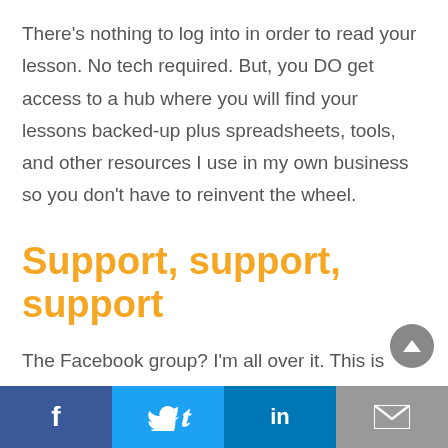There's nothing to log into in order to read your lesson. No tech required. But, you DO get access to a hub where you will find your lessons backed-up plus spreadsheets, tools, and other resources I use in my own business so you don't have to reinvent the wheel.
Support, support, support
The Facebook group? I'm all over it. This is where